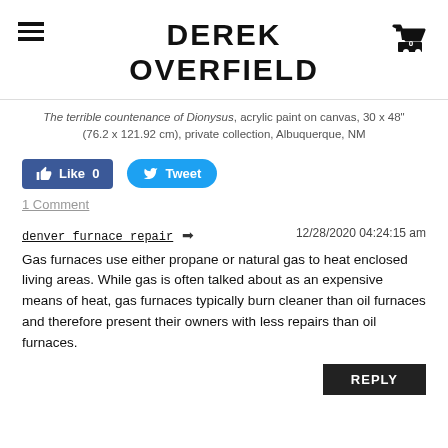DEREK OVERFIELD
The terrible countenance of Dionysus, acrylic paint on canvas, 30 x 48" (76.2 x 121.92 cm), private collection, Albuquerque, NM
[Figure (other): Facebook Like button showing 0 likes and Twitter Tweet button]
1 Comment
denver furnace repair   12/28/2020 04:24:15 am
Gas furnaces use either propane or natural gas to heat enclosed living areas. While gas is often talked about as an expensive means of heat, gas furnaces typically burn cleaner than oil furnaces and therefore present their owners with less repairs than oil furnaces.